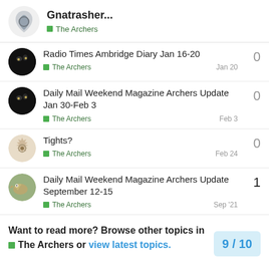Gnatrasher... The Archers
Radio Times Ambridge Diary Jan 16-20 | The Archers | Jan 20 | 0 replies
Daily Mail Weekend Magazine Archers Update Jan 30-Feb 3 | The Archers | Feb 3 | 0 replies
Tights? | The Archers | Feb 24 | 0 replies
Daily Mail Weekend Magazine Archers Update September 12-15 | The Archers | Sep '21 | 1 reply
Want to read more? Browse other topics in The Archers or view latest topics. 9 / 10